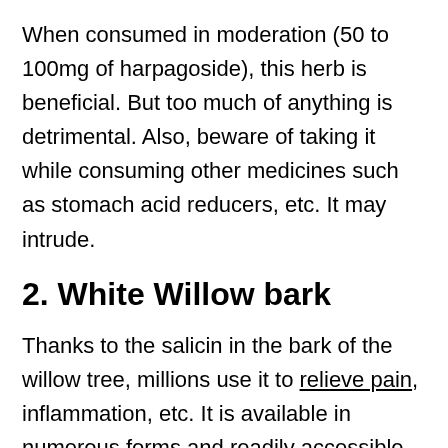When consumed in moderation (50 to 100mg of harpagoside), this herb is beneficial. But too much of anything is detrimental. Also, beware of taking it while consuming other medicines such as stomach acid reducers, etc. It may intrude.
2. White Willow bark
Thanks to the salicin in the bark of the willow tree, millions use it to relieve pain, inflammation, etc. It is available in numerous forms and readily accessible in trusted stores that provide herbs and spices.